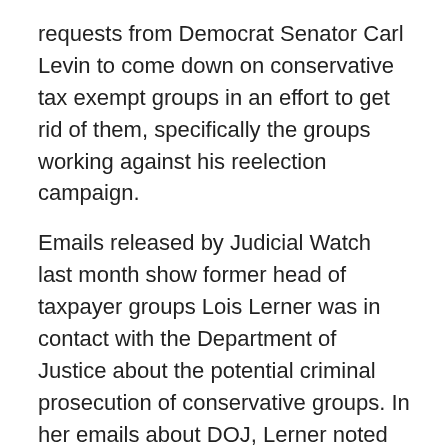requests from Democrat Senator Carl Levin to come down on conservative tax exempt groups in an effort to get rid of them, specifically the groups working against his reelection campaign.
Emails released by Judicial Watch last month show former head of taxpayer groups Lois Lerner was in contact with the Department of Justice about the potential criminal prosecution of conservative groups. In her emails about DOJ, Lerner noted that putting one person from a conservative organization in jail would create and example and “shut the whole thing down.”
When it comes to abuse of power it doesn’t get much more egregious than this. You can see why Lois Lerner took the Fifth. And yet the Democrats keep trying to insist